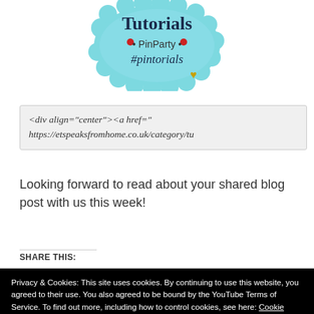[Figure (logo): Tutorials PinParty #pintorials logo on light blue scalloped background with red heart decorations and a gold heart charm]
<div align="center"><a href="https://etspeaksfromhome.co.uk/category/tu
Looking forward to read about your shared blog post with us this week!
SHARE THIS:
Privacy & Cookies: This site uses cookies. By continuing to use this website, you agreed to their use. You also agreed to be bound by the YouTube Terms of Service. To find out more, including how to control cookies, see here: Cookie Policy
Close and accept